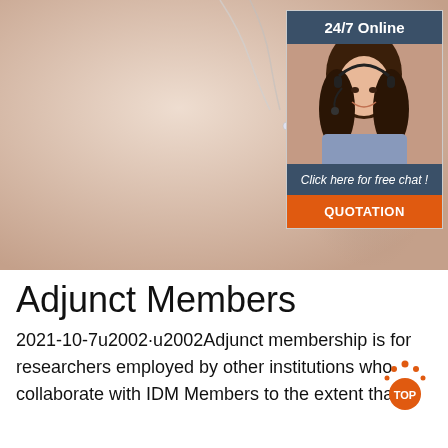[Figure (photo): Silver moon and star pendant necklace on a beige/peach background, with a customer service ad widget in the top right showing '24/7 Online', a woman with headset, 'Click here for free chat!' text, and an orange QUOTATION button]
Adjunct Members
2021-10-7u2002·u2002Adjunct membership is for researchers employed by other institutions who collaborate with IDM Members to the extent that